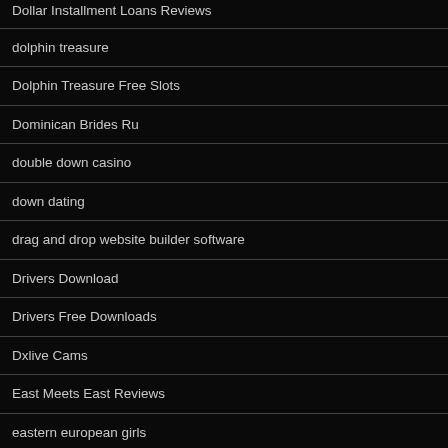Dollar Installment Loans Reviews
dolphin treasure
Dolphin Treasure Free Slots
Dominican Brides Ru
double down casino
down dating
drag and drop website builder software
Drivers Download
Drivers Free Downloads
Dxlive Cams
East Meets East Reviews
eastern european girls
Eastern European Mail Order Brides